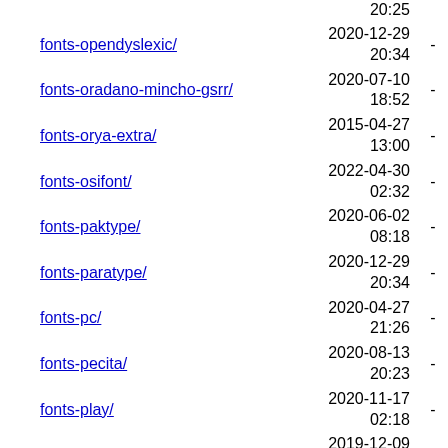fonts-opendyslexic/ 2020-12-29 20:34 -
fonts-oradano-mincho-gsrr/ 2020-07-10 18:52 -
fonts-orya-extra/ 2015-04-27 13:00 -
fonts-osifont/ 2022-04-30 02:32 -
fonts-paktype/ 2020-06-02 08:18 -
fonts-paratype/ 2020-12-29 20:34 -
fonts-pc/ 2020-04-27 21:26 -
fonts-pecita/ 2020-08-13 20:23 -
fonts-play/ 2020-11-17 02:18 -
fonts-prociono/ 2019-12-09 14:23 -
fonts-quattrocento/ 2021-01-02 20:42 -